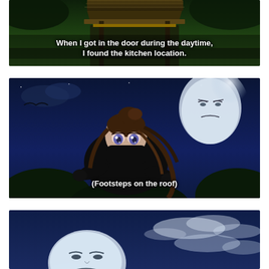[Figure (screenshot): Anime screenshot panel 1: Dark scene with traditional Japanese building rooftop, daytime. White subtitle text reads: 'When I got in the door during the daytime, I found the kitchen location.']
[Figure (screenshot): Anime screenshot panel 2: Night scene. Female character in black ninja outfit with mask, brown hair, purple eyes, crouching forward. Upper right has a round ghost-like face with angry expression. Blue night sky with dark trees. Subtitle: '(Footsteps on the roof)']
[Figure (screenshot): Anime screenshot panel 3: Night sky with clouds. Large round ghost-like face with stern/squinting expression in lower left center. Blue sky with white clouds.]